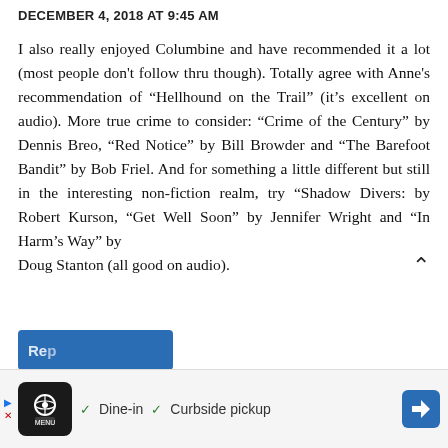DECEMBER 4, 2018 AT 9:45 AM
I also really enjoyed Columbine and have recommended it a lot (most people don't follow thru though). Totally agree with Anne's recommendation of “Hellhound on the Trail” (it’s excellent on audio). More true crime to consider: “Crime of the Century” by Dennis Breo, “Red Notice” by Bill Browder and “The Barefoot Bandit” by Bob Friel. And for something a little different but still in the interesting non-fiction realm, try “Shadow Divers: by Robert Kurson, “Get Well Soon” by Jennifer Wright and “In Harm’s Way” by Doug Stanton (all good on audio).
[Figure (other): Blue reply button partially visible at bottom left, and an advertisement banner at the bottom of the page showing a restaurant icon with Dine-in and Curbside pickup options]